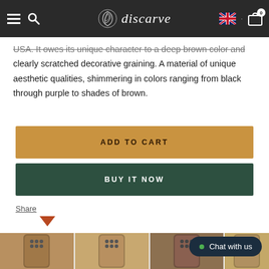discarve — navigation header with menu, search, logo, language flag, and cart
USA. It owes its unique character to a deep brown color and clearly scratched decorative graining. A material of unique aesthetic qualities, shimmering in colors ranging from black through purple to shades of brown.
ADD TO CART
BUY IT NOW
Share
[Figure (photo): Four wooden phone case product thumbnails shown at the bottom of the page]
Chat with us